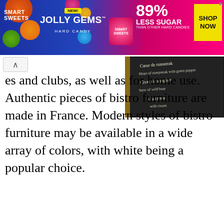[Figure (photo): SmartSweets Jolly Gems Hard Candy advertisement banner. Blue and pink gradient background with candy imagery. Text: SMART SWEETS, NEW!, JOLLY GEMS HARD CANDY, 89% LESS SUGAR THAN OTHER HARD CANDIES, SHOP NOW]
[Figure (photo): Photo of a chalkboard menu in a bistro, showing handwritten French menu items including Coeur de rumsteak, Heart of rumpsteak with green pepper, Civet de sanglier, Stew of wild boar, a la creme with cream]
es and clubs, as well as for home use. Authentic pieces of bistro furniture are made in France. Modern styles of bistro furniture may be available in a wide array of colors, with white being a popular choice.